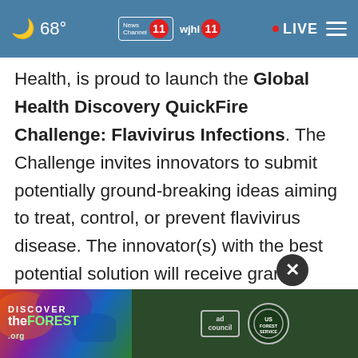68° | News Channel 11 | wjhl 11 | LIVE
Health, is proud to launch the Global Health Discovery QuickFire Challenge: Flavivirus Infections. The Challenge invites innovators to submit potentially ground-breaking ideas aiming to treat, control, or prevent flavivirus disease. The innovator(s) with the best potential solution will receive grant funding from a total pool of $300,000, virtual access to the JLABS Asia Pacific community, including a dedicated workstation for one year at JLABS @ Shanghai, the Johnson & Johnson Family of Companies
[Figure (screenshot): Advertisement banner: DISCOVERtheFOREST.org with Ad Council and US Forest Service logos]